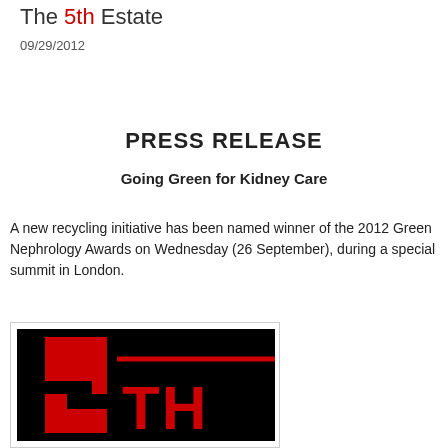The 5th Estate
09/29/2012
PRESS RELEASE
Going Green for Kidney Care
A new recycling initiative has been named winner of the 2012 Green Nephrology Awards on Wednesday (26 September), during a special summit in London.
[Figure (logo): The 5th Estate logo: large red stylized number 5 with 'TH' text on black background]